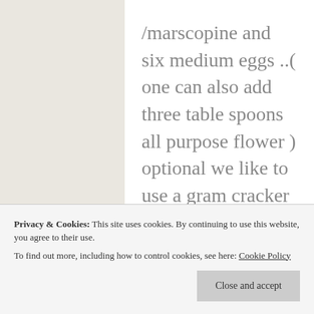/marscopine and six medium eggs ..( one can also add three table spoons all purpose flower ) optional we like to use a gram cracker crust ….either store bought or we crush chocolate wafers and apply to a buttered pan …350 deg. for 45 to 50
but any can be used
Privacy & Cookies: This site uses cookies. By continuing to use this website, you agree to their use. To find out more, including how to control cookies, see here: Cookie Policy
Close and accept